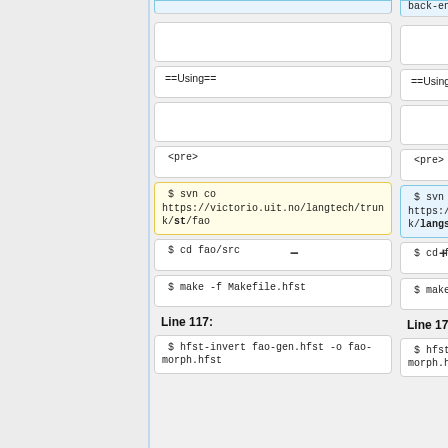back-ends.
==Using==
==Using==
<pre>
<pre>
$ svn co https://victorio.uit.no/langtech/trunk/st/fao
$ svn co https://victorio.uit.no/langtech/trunk/langs/fao
$ cd fao/src
$ cd fao/src
$ make -f Makefile.hfst
$ make -f Makefile.hfst
Line 117:
Line 172:
$ hfst-invert fao-gen.hfst -o fao-morph.hfst
$ hfst-invert fao-gen.hfst -o fao-morph.hfst